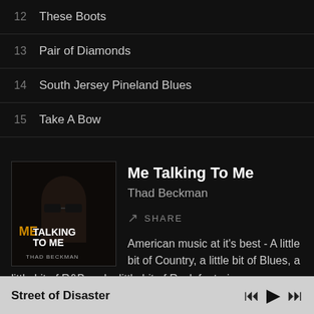12  These Boots
13  Pair of Diamonds
14  South Jersey Pineland Blues
15  Take A Bow
[Figure (photo): Album cover for 'Me Talking To Me' by Thad Beckman — a man wearing dark sunglasses with stylized text overlay]
Me Talking To Me
Thad Beckman
SHARE
American music at it's best - A little bit of Country, a little bit of Blues, a little bit of R&B and a little bit of Rock featuring
Street of Disaster